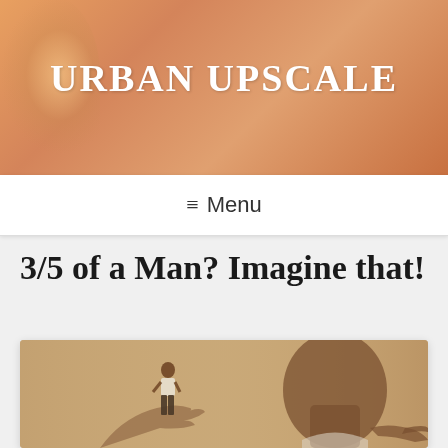URBAN UPSCALE
≡ Menu
3/5 of a Man? Imagine that!
[Figure (photo): Sepia-toned composite photo showing a large young Black man holding out his hand with a tiny standing Black man in a white shirt and dark pants balanced on his palm, while the large man points at the small figure with his other hand.]